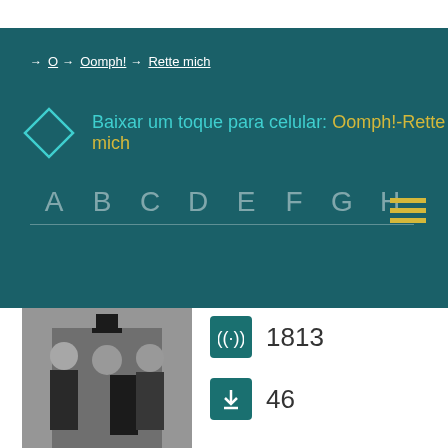→ O → Oomph! → Rette mich
Baixar um toque para celular: Oomph!-Rette mich
A B C D E F G H
[Figure (photo): Black and white photo of three men in dark formal attire, one wearing a tall top hat]
1813
46